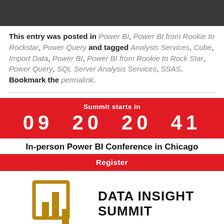[Figure (screenshot): Dark gray banner at top of page, partial content cut off]
This entry was posted in Power BI, Power BI from Rookie to Rockstar, Power Query and tagged Analysis Services, Cube, Import Data, Power BI, Power BI from Rookie to Rock Star, Power Query, SQL Server Analysis Services, SSAS. Bookmark the permalink.
[Figure (infographic): Red banner with Summit starts in countdown: 09 20 20 41, In-person Power BI Conference in Chicago, Register button]
[Figure (logo): Data Insight Summit logo with bar chart icon in gold and text DATA INSIGHT SUMMIT in bold black]